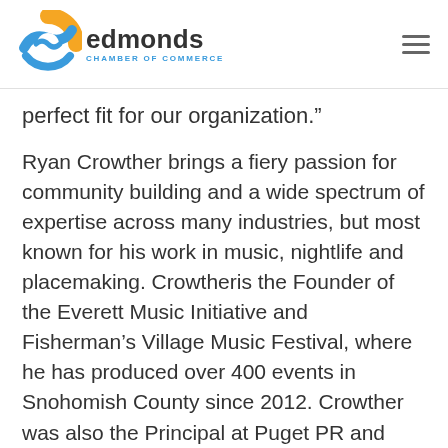edmonds CHAMBER OF COMMERCE
perfect fit for our organization."
Ryan Crowther brings a fiery passion for community building and a wide spectrum of expertise across many industries, but most known for his work in music, nightlife and placemaking. Crowtheris the Founder of the Everett Music Initiative and Fisherman’s Village Music Festival, where he has produced over 400 events in Snohomish County since 2012. Crowther was also the Principal at Puget PR and Public Affairs, a boutique public relations and marketing outfit in Snohomish County, where he worked with dozens of small